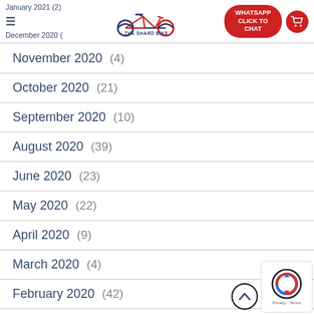January 2021 (2) | THE SHARD BIKE | December 2020 | WHATSAPP CLICK TO CHAT
November 2020 (4)
October 2020 (21)
September 2020 (10)
August 2020 (39)
June 2020 (23)
May 2020 (22)
April 2020 (9)
March 2020 (4)
February 2020 (42)
December 2019 (19)